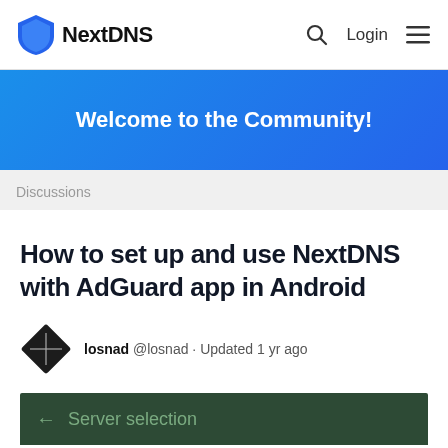NextDNS — Login
[Figure (illustration): Blue shield logo for NextDNS]
Welcome to the Community!
Discussions
How to set up and use NextDNS with AdGuard app in Android
losnad @losnad · Updated 1 yr ago
[Figure (screenshot): Server selection screen in AdGuard app, dark green background]